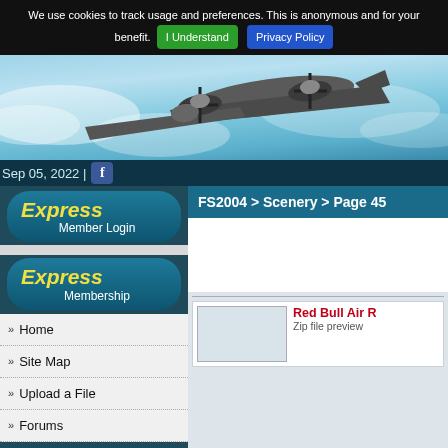We use cookies to track usage and preferences. This is anonymous and for your benefit. I Understand  Privacy Policy
[Figure (photo): Hero image of a vintage WWII bomber aircraft (B-24 or similar) viewed from below against a blue cloudy sky]
Sep 05, 2022 |
Express Member Login
Express Membership
Home
Site Map
Upload a File
Forums
FS2004 > Scenery > Page 45
Red Bull Air R
Zip file preview